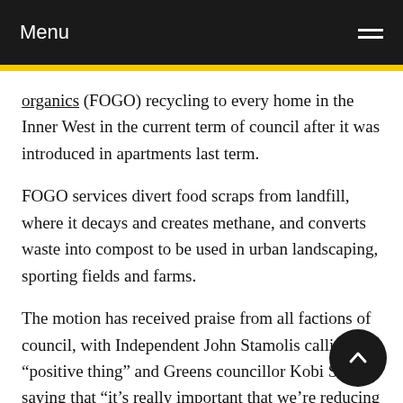Menu
organics (FOGO) recycling to every home in the Inner West in the current term of council after it was introduced in apartments last term.
FOGO services divert food scraps from landfill, where it decays and creates methane, and converts waste into compost to be used in urban landscaping, sporting fields and farms.
The motion has received praise from all factions of council, with Independent John Stamolis calling it a “positive thing” and Greens councillor Kobi Shetty saying that “it’s really important that we’re reducing the waste to landfill” and that it makes “absolute sense to support” the expansion of FOGO recy…